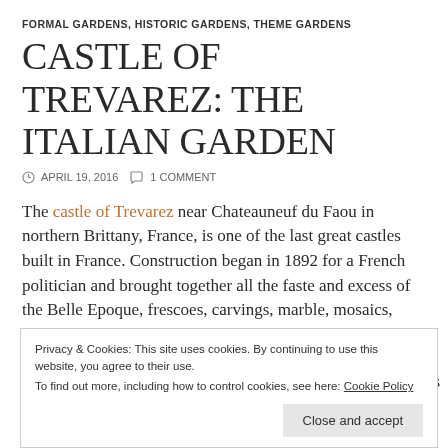FORMAL GARDENS, HISTORIC GARDENS, THEME GARDENS
CASTLE OF TREVAREZ: THE ITALIAN GARDEN
APRIL 19, 2016   1 COMMENT
The castle of Trevarez near Chateauneuf du Faou in northern Brittany, France, is one of the last great castles built in France. Construction began in 1892 for a French politician and brought together all the faste and excess of the Belle Epoque, frescoes, carvings, marble, mosaics, ornate panels and fireplaces.
Privacy & Cookies: This site uses cookies. By continuing to use this website, you agree to their use.
To find out more, including how to control cookies, see here: Cookie Policy
/Us.